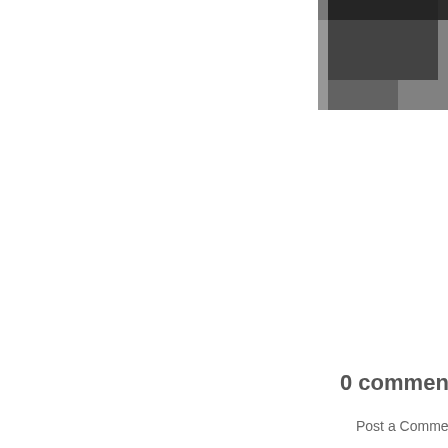[Figure (photo): Partial black and white photo visible in the top-right corner of the page, cropped]
0 comments:
Post a Comment
Newer Post
Subscribe to: Post Comm
Copyrig